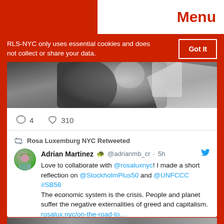Menu
RLS-NYC only uses essential cookies and does not collect or share your data.
Got It
[Figure (photo): Black and white photo of a person, partially visible, upper portion cropped]
4  310
Rosa Luxemburg NYC Retweeted
Adrian Martinez 🐢 @adrianmb_cr · 5h
Love to collaborate with @rosaluxnyc! I made a short reflection on @StockholmPlus50 and @UNFCCC #SB56
The economic system is the crisis. People and planet suffer the negative externalities of greed and capitalism.
rosalux.nyc/on-the-road-to…
[Figure (photo): Partial image strip at bottom of page, appears to be another photo]